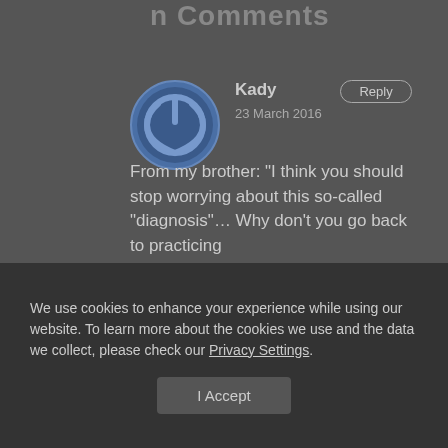n Comments
[Figure (logo): Circular avatar icon with power symbol, dark blue and grey tones]
Kady
Reply
23 March 2016
From my brother: "I think you should stop worrying about this so-called "diagnosis"... Why don't you go back to practicing
We use cookies to enhance your experience while using our website. To learn more about the cookies we use and the data we collect, please check our Privacy Settings.
I Accept